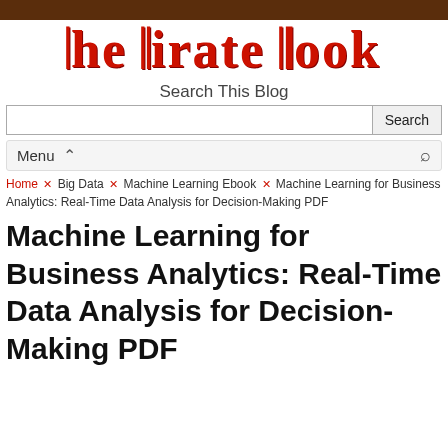THE PIRATE BOOK
Search This Blog
Menu
Home × Big Data × Machine Learning Ebook × Machine Learning for Business Analytics: Real-Time Data Analysis for Decision-Making PDF
Machine Learning for Business Analytics: Real-Time Data Analysis for Decision-Making PDF